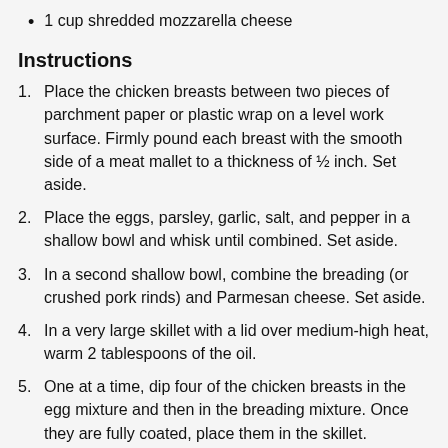1 cup shredded mozzarella cheese
Instructions
1. Place the chicken breasts between two pieces of parchment paper or plastic wrap on a level work surface. Firmly pound each breast with the smooth side of a meat mallet to a thickness of ½ inch. Set aside.
2. Place the eggs, parsley, garlic, salt, and pepper in a shallow bowl and whisk until combined. Set aside.
3. In a second shallow bowl, combine the breading (or crushed pork rinds) and Parmesan cheese. Set aside.
4. In a very large skillet with a lid over medium-high heat, warm 2 tablespoons of the oil.
5. One at a time, dip four of the chicken breasts in the egg mixture and then in the breading mixture. Once they are fully coated, place them in the skillet.
6. Cook the chicken for 4 to 5 minutes on each side, or until nicely browned. Remove from the skillet and set aside on a plate.